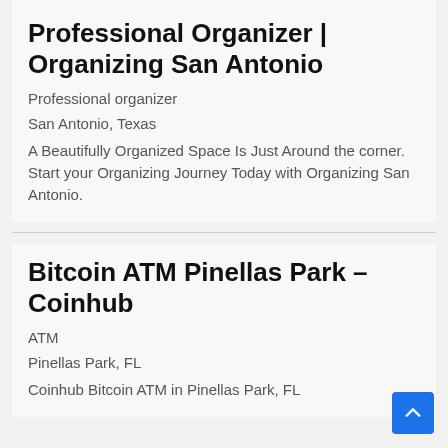Professional Organizer | Organizing San Antonio
Professional organizer
San Antonio, Texas
A Beautifully Organized Space Is Just Around the corner. Start your Organizing Journey Today with Organizing San Antonio.
Bitcoin ATM Pinellas Park – Coinhub
ATM
Pinellas Park, FL
Coinhub Bitcoin ATM in Pinellas Park, FL